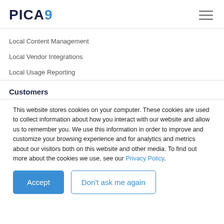PICA9
Local Content Management
Local Vendor Integrations
Local Usage Reporting
Customers
This website stores cookies on your computer. These cookies are used to collect information about how you interact with our website and allow us to remember you. We use this information in order to improve and customize your browsing experience and for analytics and metrics about our visitors both on this website and other media. To find out more about the cookies we use, see our Privacy Policy.
Accept | Don't ask me again